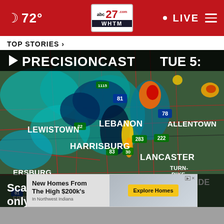72° | abc27 WHTM | LIVE
TOP STORIES ›
[Figure (screenshot): Weather radar map showing precipitation over central Pennsylvania region including cities: LEWISTOWN, LEBANON, HARRISBURG, LANCASTER, YORK, ALLENTOWN, PHILADELPHIA. Radar shows teal/cyan and red precipitation areas with highway markers (81, 78, 222, 283, 83, 30, 15, 22). Title bar reads PRECISIONCAST TUE 5:]
Scattered storms today will be the only chance for
[Figure (screenshot): Advertisement banner: New Homes From The High $200k's In Northwest Indiana with Explore Homes button]